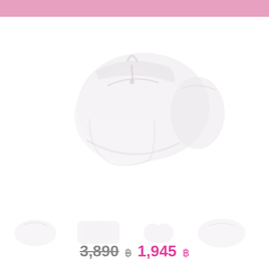[Figure (photo): Product photo of a white/light-colored bag or cosmetic pouch shown from multiple angles against a white background. Main large image in center, with smaller thumbnail images below. Pink header bar at top.]
3,890 ฿  1,945 ฿